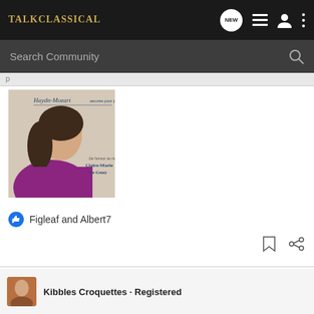Talk Classical
Search Community
[Figure (photo): Album cover for Haydn-Mozart piano works featuring Claire-Marie Le Guay. Text on cover reads: Haydn-Mozart oeuvres pour piano III, De l'amour au riends, Claire-Marie Le Guay]
Figleaf and Albert7
Kibbles Croquettes · Registered